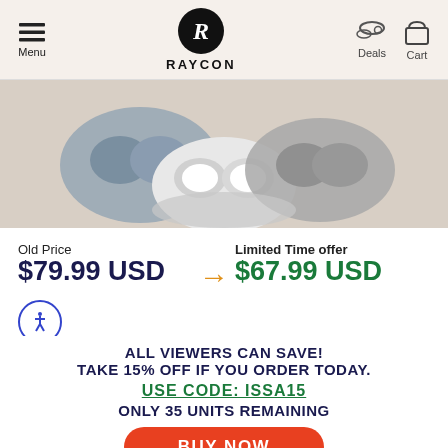Menu | RAYCON | Deals | Cart
[Figure (photo): Product photo of Raycon wireless earbuds in charging cases, showing multiple color variants (blue, white, gray) from above on a light background.]
Old Price
$79.99 USD → Limited Time offer
$67.99 USD
ALL VIEWERS CAN SAVE! TAKE 15% OFF IF YOU ORDER TODAY.
USE CODE: ISSA15
ONLY 35 UNITS REMAINING
BUY NOW